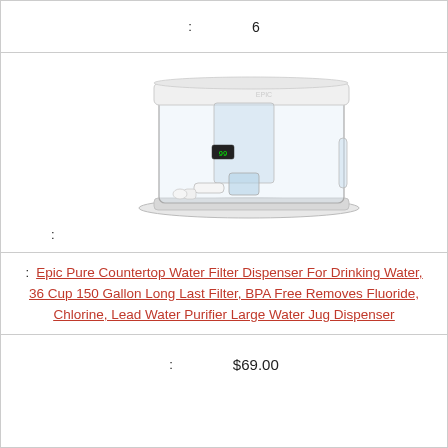: 6
[Figure (photo): A clear plastic countertop water filter dispenser with white lid, digital display, and white spigot at the bottom front.]
:
: Epic Pure Countertop Water Filter Dispenser For Drinking Water, 36 Cup 150 Gallon Long Last Filter, BPA Free Removes Fluoride, Chlorine, Lead Water Purifier Large Water Jug Dispenser
: $69.00